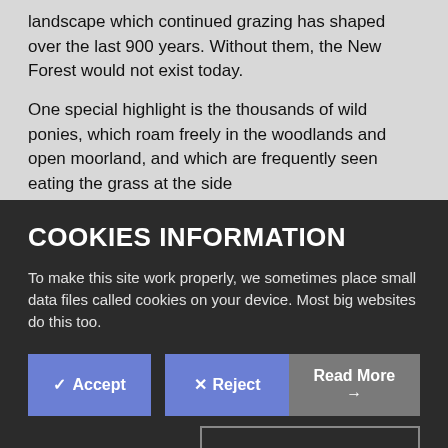landscape which continued grazing has shaped over the last 900 years. Without them, the New Forest would not exist today.
One special highlight is the thousands of wild ponies, which roam freely in the woodlands and open moorland, and which are frequently seen eating the grass at the side
COOKIES INFORMATION
To make this site work properly, we sometimes place small data files called cookies on your device. Most big websites do this too.
✓ Accept × Reject Read More → Change Settings ⚙